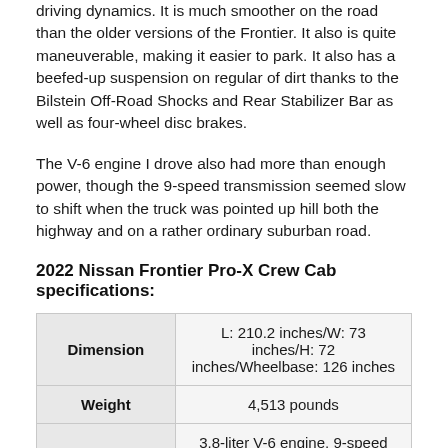driving dynamics. It is much smoother on the road than the older versions of the Frontier. It also is quite maneuverable, making it easier to park. It also has a beefed-up suspension on regular of dirt thanks to the Bilstein Off-Road Shocks and Rear Stabilizer Bar as well as four-wheel disc brakes.
The V-6 engine I drove also had more than enough power, though the 9-speed transmission seemed slow to shift when the truck was pointed up hill both the highway and on a rather ordinary suburban road.
2022 Nissan Frontier Pro-X Crew Cab specifications:
| Dimension | Weight | Powertrain |
| --- | --- | --- |
| Dimension | L: 210.2 inches/W: 73 inches/H: 72 inches/Wheelbase: 126 inches |
| Weight | 4,513 pounds |
| Powertrain | 3.8-liter V-6 engine, 9-speed automatic transmission and four- |